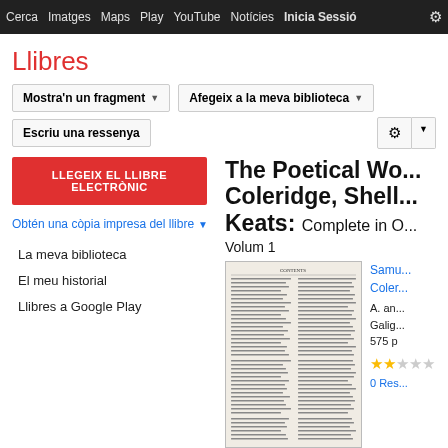Cerca Imatges Maps Play YouTube Notícies Inicia Sessió Me
Llibres
Mostra'n un fragment
Afegeix a la meva biblioteca
Escriu una ressenya
LLEGEIX EL LLIBRE ELECTRÒNIC
Obtén una còpia impresa del llibre
La meva biblioteca
El meu historial
Llibres a Google Play
The Poetical Wo... Coleridge, Shell... Keats: Complete in O... Volum 1
[Figure (other): Thumbnail preview of a book page showing a table of contents]
Samu... Coler...
A. an...
Galig...
575 p
★★
0 Res...